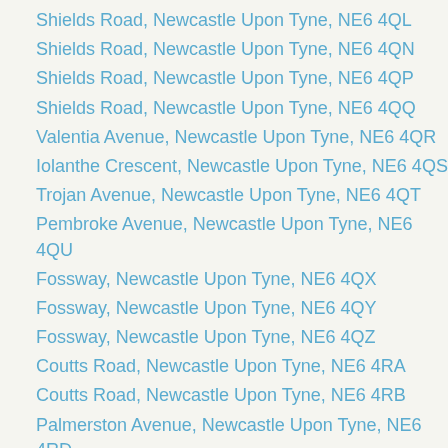Shields Road, Newcastle Upon Tyne, NE6 4QL
Shields Road, Newcastle Upon Tyne, NE6 4QN
Shields Road, Newcastle Upon Tyne, NE6 4QP
Shields Road, Newcastle Upon Tyne, NE6 4QQ
Valentia Avenue, Newcastle Upon Tyne, NE6 4QR
Iolanthe Crescent, Newcastle Upon Tyne, NE6 4QS
Trojan Avenue, Newcastle Upon Tyne, NE6 4QT
Pembroke Avenue, Newcastle Upon Tyne, NE6 4QU
Fossway, Newcastle Upon Tyne, NE6 4QX
Fossway, Newcastle Upon Tyne, NE6 4QY
Fossway, Newcastle Upon Tyne, NE6 4QZ
Coutts Road, Newcastle Upon Tyne, NE6 4RA
Coutts Road, Newcastle Upon Tyne, NE6 4RB
Palmerston Avenue, Newcastle Upon Tyne, NE6 4RD
Sutton Street, Newcastle Upon Tyne, NE6 4RE